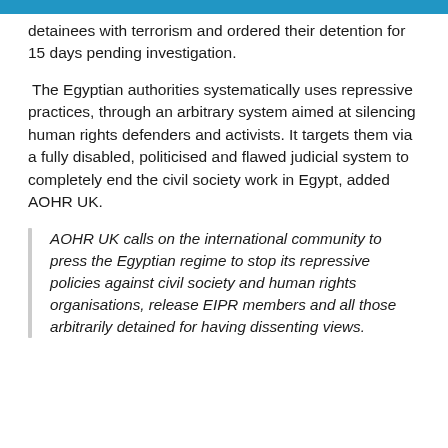detainees with terrorism and ordered their detention for 15 days pending investigation.
The Egyptian authorities systematically uses repressive practices, through an arbitrary system aimed at silencing human rights defenders and activists. It targets them via a fully disabled, politicised and flawed judicial system to completely end the civil society work in Egypt, added AOHR UK.
AOHR UK calls on the international community to press the Egyptian regime to stop its repressive policies against civil society and human rights organisations, release EIPR members and all those arbitrarily detained for having dissenting views.